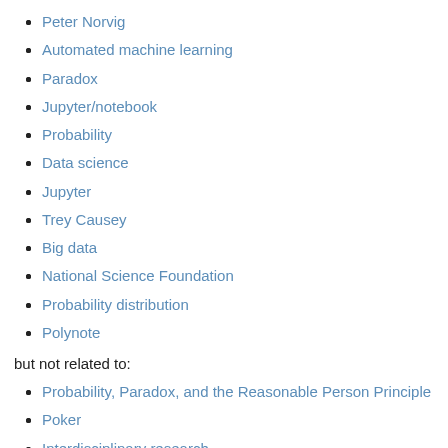Peter Norvig
Automated machine learning
Paradox
Jupyter/notebook
Probability
Data science
Jupyter
Trey Causey
Big data
National Science Foundation
Probability distribution
Polynote
but not related to:
Probability, Paradox, and the Reasonable Person Principle
Poker
Interdisciplinary research
Positive matches